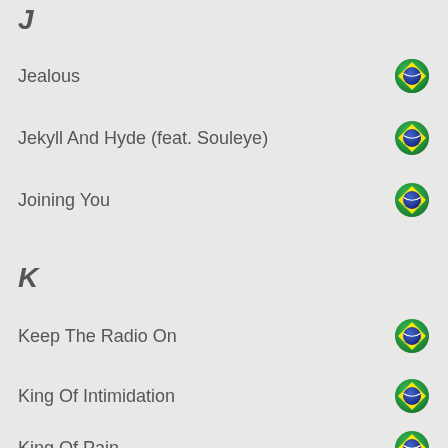J
Jealous
Jekyll And Hyde (feat. Souleye)
Joining You
K
Keep The Radio On
King Of Intimidation
King Of Pain